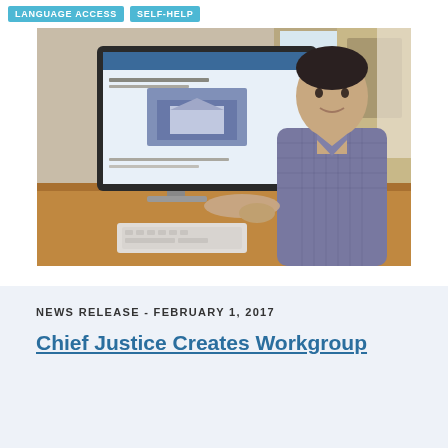LANGUAGE ACCESS   SELF-HELP
[Figure (photo): A man in a checkered shirt sits at a desk in front of a large iMac computer displaying a webpage with a court building image. He is looking at the camera with his hand on the keyboard. The office background shows a window and wood furniture.]
NEWS RELEASE - FEBRUARY 1, 2017
Chief Justice Creates Workgroup